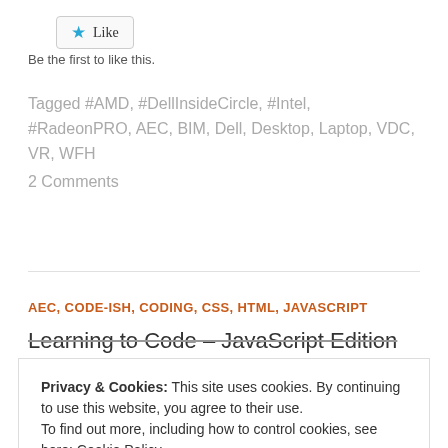[Figure (other): Like button with blue star icon and 'Like' label]
Be the first to like this.
Tagged #AMD, #DellInsideCircle, #Intel, #RadeonPRO, AEC, BIM, Dell, Desktop, Laptop, VDC, VR, WFH
2 Comments
AEC, CODE-ISH, CODING, CSS, HTML, JAVASCRIPT
Learning to Code – JavaScript Edition
Privacy & Cookies: This site uses cookies. By continuing to use this website, you agree to their use.
To find out more, including how to control cookies, see here: Cookie Policy
Close and accept